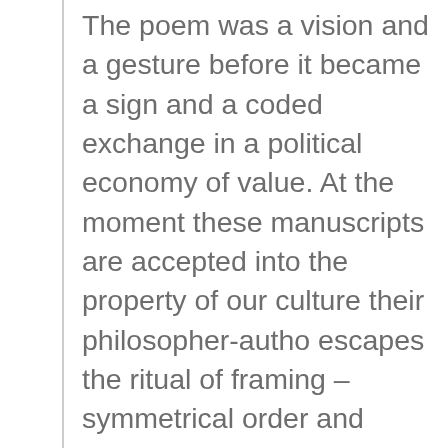The poem was a vision and a gesture before it became a sign and a coded exchange in a political economy of value. At the moment these manuscripts are accepted into the property of our culture their philosopher-autho escapes the ritual of framing – symmetrical order and arrangement. Are all these works poems? Are they fragments, meditations, aphorisms, events, letters? After the first nine fascicles, lines break off interrupting meter. Righthand margins perish into edges sometimes tipped by crosses and